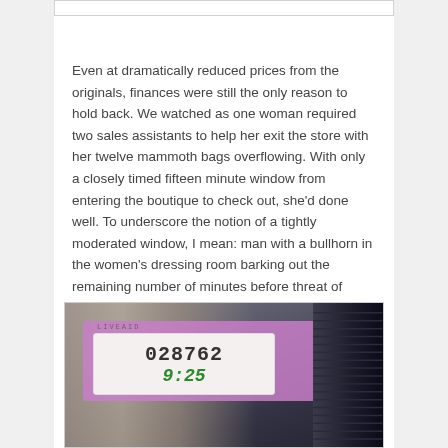Even at dramatically reduced prices from the originals, finances were still the only reason to hold back. We watched as one woman required two sales assistants to help her exit the store with her twelve mammoth bags overflowing. With only a closely timed fifteen minute window from entering the boutique to check out, she'd done well. To underscore the notion of a tightly moderated window, I mean: man with a bullhorn in the women's dressing room barking out the remaining number of minutes before threat of forcible removal in whatever stage of undress.
[Figure (photo): A wrist wearing a purple/pink event wristband with a white label showing the number 028762 and handwritten time 9:25, with a dark ribbed hat or fabric visible on the right side.]